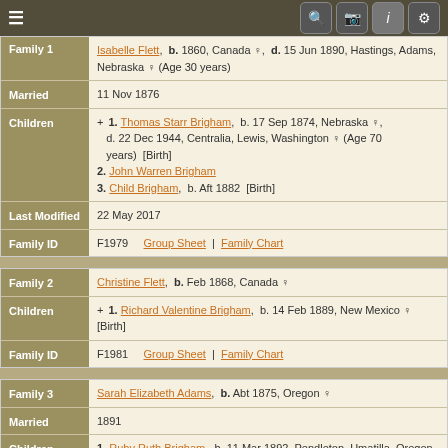Navigation bar with hamburger menu and icons
Family 1 — Isabelle Flett, b. 1860, Canada, d. 15 Jun 1890, Hastings, Adams, Nebraska (Age 30 years)
Married: 11 Nov 1876
Children: 1. Thomas Starr Brigham, b. 17 Sep 1874, Nebraska, d. 22 Dec 1944, Centralia, Lewis, Washington (Age 70 years) [Birth]
2. John Warren Brigham
3. Child Brigham, b. Aft 1882 [Birth]
Last Modified: 22 May 2017
Family ID: F1979  Group Sheet | Family Chart
Family 2 — Christine Flett, b. Feb 1868, Canada
Children: 1. Richard Valentine Brigham, b. 14 Feb 1889, New Mexico [Birth]
Family ID: F1981  Group Sheet | Family Chart
Family 3 — Sarah Elizabeth Adams, b. Abt 1875, Oregon
Married: 1891
Children: 1. Ruby Ruth Brigham, b. 11 Mar 1892, Pendleton, Umatilla, Oregon [Birth]
2. Hawley Budd Brigham, b. 26 Aug 1893, Pendleton,